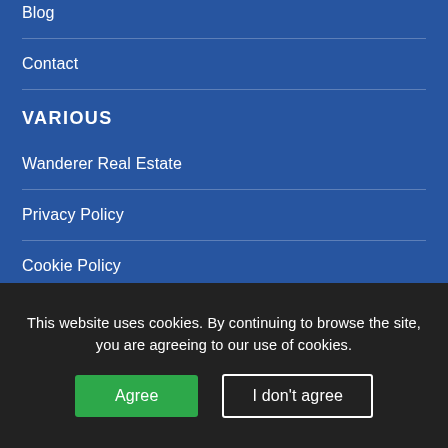Blog
Contact
VARIOUS
Wanderer Real Estate
Privacy Policy
Cookie Policy
Request 1
Request 2
This website uses cookies. By continuing to browse the site, you are agreeing to our use of cookies.
Agree
I don't agree